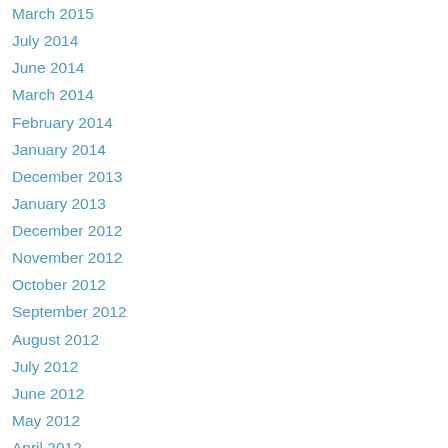March 2015
July 2014
June 2014
March 2014
February 2014
January 2014
December 2013
January 2013
December 2012
November 2012
October 2012
September 2012
August 2012
July 2012
June 2012
May 2012
April 2012
March 2012
February 2012
January 2012
December 2011